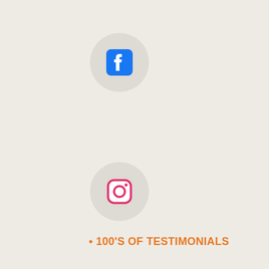[Figure (logo): Facebook logo icon (white F on blue square) inside a light grey circle]
[Figure (logo): Instagram logo icon (camera outline in red/orange) inside a light grey circle]
[Figure (logo): Row of payment method logos: VISA, MasterCard, American Express, Discover Network, Zelle]
[Figure (other): Up arrow navigation button (scroll to top)]
• 100'S OF TESTIMONIALS